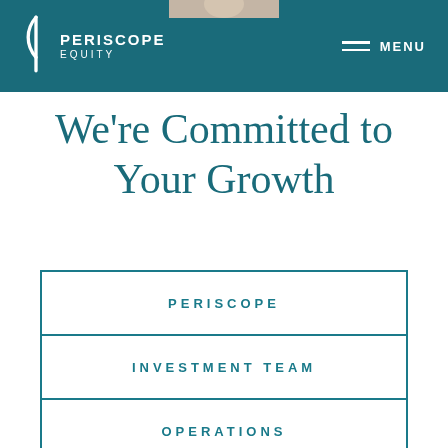[Figure (photo): Partial photo of a person in business attire visible at top center of page, cropped at header]
PERISCOPE EQUITY  —  MENU
We're Committed to Your Growth
| PERISCOPE |
| INVESTMENT TEAM |
| OPERATIONS |
|  |